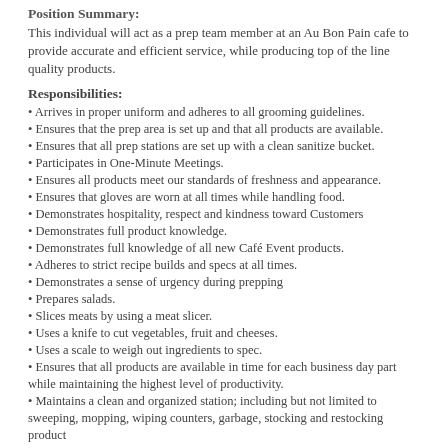Position Summary:
This individual will act as a prep team member at an Au Bon Pain cafe to provide accurate and efficient service, while producing top of the line quality products.
Responsibilities:
Arrives in proper uniform and adheres to all grooming guidelines.
Ensures that the prep area is set up and that all products are available.
Ensures that all prep stations are set up with a clean sanitize bucket.
Participates in One-Minute Meetings.
Ensures all products meet our standards of freshness and appearance.
Ensures that gloves are worn at all times while handling food.
Demonstrates hospitality, respect and kindness toward Customers
Demonstrates full product knowledge.
Demonstrates full knowledge of all new Café Event products.
Adheres to strict recipe builds and specs at all times.
Demonstrates a sense of urgency during prepping
Prepares salads.
Slices meats by using a meat slicer.
Uses a knife to cut vegetables, fruit and cheeses.
Uses a scale to weigh out ingredients to spec.
Ensures that all products are available in time for each business day part while maintaining the highest level of productivity.
Maintains a clean and organized station; including but not limited to sweeping, mopping, wiping counters, garbage, stocking and restocking product and organizing station to store's standards.